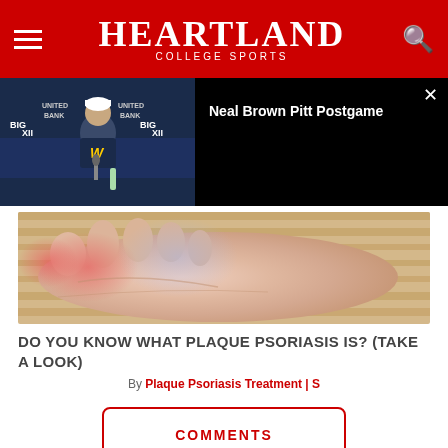Heartland College Sports
[Figure (screenshot): Video panel showing Neal Brown Pitt Postgame press conference thumbnail on left, black panel with title on right]
[Figure (photo): Close-up photo of a foot/toes with reddish skin, likely illustrating plaque psoriasis]
DO YOU KNOW WHAT PLAQUE PSORIASIS IS? (TAKE A LOOK)
By Plaque Psoriasis Treatment | S
COMMENTS